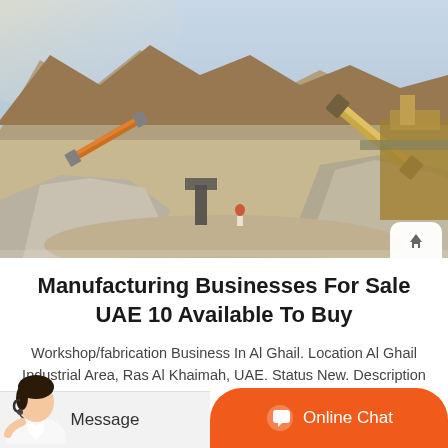[Figure (photo): Open pit quarry/mining site with heavy machinery, conveyor belts, gravel piles, and rocky mountains in the background. Industrial stone crushing equipment visible on the right.]
Manufacturing Businesses For Sale UAE 10 Available To Buy
Workshop/fabrication Business In Al Ghail. Location Al Ghail Industrial Area, Ras Al Khaimah, UAE. Status New. Description